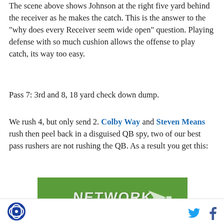The scene above shows Johnson at the right five yard behind the receiver as he makes the catch. This is the answer to the "why does every Receiver seem wide open" question. Playing defense with so much cushion allows the offense to play catch, its way too easy.
Pass 7: 3rd and 8, 18 yard check down dump.
We rush 4, but only send 2. Colby Way and Steven Means rush then peel back in a disguised QB spy, two of our best pass rushers are not rushing the QB. As a result you get this:
[Figure (photo): A green football field with the NFL Network logo/text visible in white on the grass.]
Site logo icon, Twitter share icon, Facebook share icon